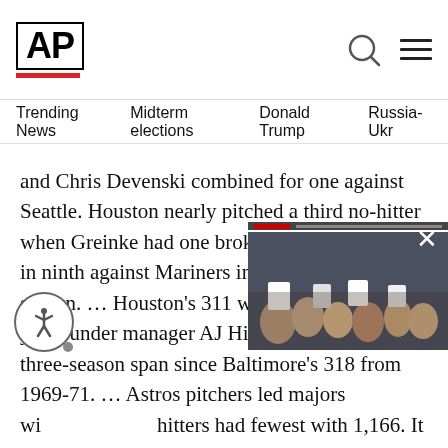AP
Trending News   Midterm elections   Donald Trump   Russia-Ukr
and Chris Devenski combined for one against Seattle. Houston nearly pitched a third no-hitter when Greinke had one broken up with one out in ninth against Mariners in his last start of season. … Houston's 311 wins over past three years under manager AJ Hinch are most in a three-season span since Baltimore's 318 from 1969-71. … Astros pitchers led majors wi... hitters had fewest with 1,166. It wa... b... a team ended season leadin... … ...ander won 20 games for seco... since winning career-high 24 in 20... he won Cy Young Award and AL M... pitcher to reach 2,000 career strik...